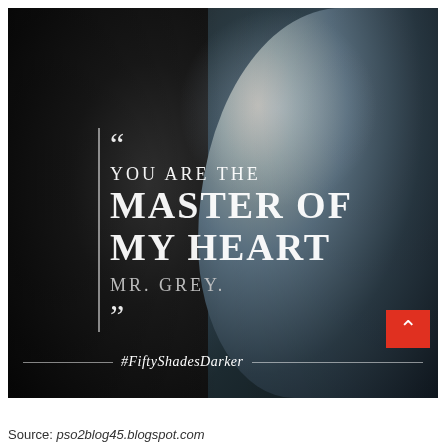[Figure (photo): Movie promotional poster for Fifty Shades Darker showing two faces in close profile — a dark silhouetted face on the left and a lighter face on the right — with a quote overlaid: '"You are the master of my heart, Mr. Grey."' and the hashtag #FiftySshadesDarker at the bottom. A red back-to-top arrow button appears at the lower right.]
Source: pso2blog45.blogspot.com